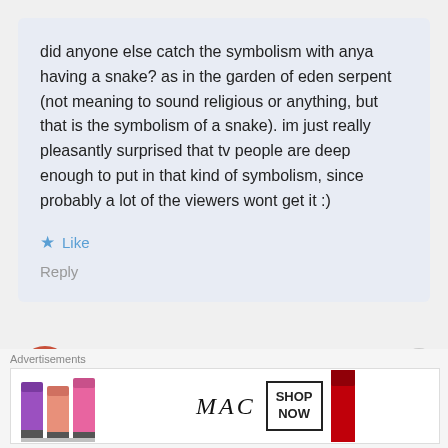did anyone else catch the symbolism with anya having a snake? as in the garden of eden serpent (not meaning to sound religious or anything, but that is the symbolism of a snake). im just really pleasantly surprised that tv people are deep enough to put in that kind of symbolism, since probably a lot of the viewers wont get it :)
★ Like
Reply
Phoenix
[Figure (advertisement): MAC cosmetics advertisement showing lipsticks with SHOP NOW text]